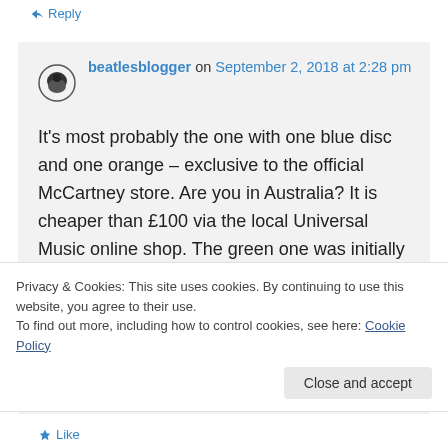↳ Reply
beatlesblogger on September 2, 2018 at 2:28 pm
It's most probably the one with one blue disc and one orange – exclusive to the official McCartney store. Are you in Australia? It is cheaper than £100 via the local Universal Music online shop. The green one was initially only available to
Privacy & Cookies: This site uses cookies. By continuing to use this website, you agree to their use.
To find out more, including how to control cookies, see here: Cookie Policy
Close and accept
★ Like